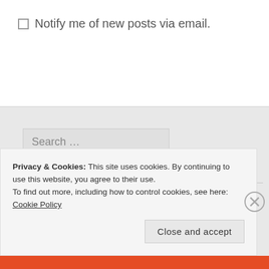Notify me of new posts via email.
Search …
COLD AIR ON FACEBOOK
Privacy & Cookies: This site uses cookies. By continuing to use this website, you agree to their use.
To find out more, including how to control cookies, see here: Cookie Policy
Close and accept